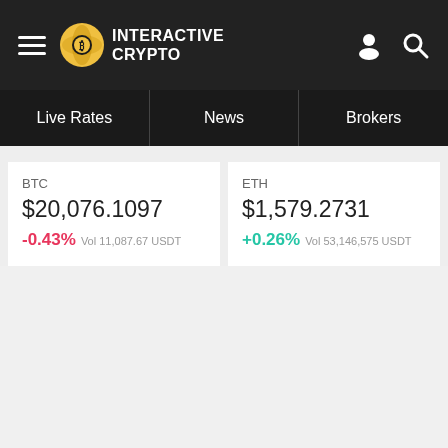INTERACTIVE CRYPTO
Live Rates | News | Brokers
BTC $20,076.1097 -0.43% Vol 11,087.67 USDT
ETH $1,579.2731 +0.26% Vol 53,146,575 USDT